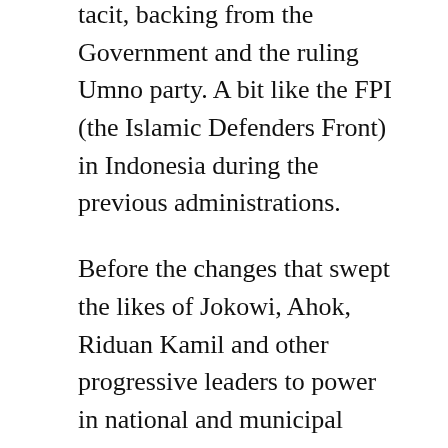tacit, backing from the Government and the ruling Umno party. A bit like the FPI (the Islamic Defenders Front) in Indonesia during the previous administrations.
Before the changes that swept the likes of Jokowi, Ahok, Riduan Kamil and other progressive leaders to power in national and municipal governments. The only power centre was the Government, made up of political brahmins out to rip off the country.
As the main interest of these brahmins was to enrich themselves by securing their political positions, they tacitly, and sometimes not so tacitly, supported organisations like the FPI and Laskar Jihad, essentially thuggish gangs abusing the name of Islam as a cover for their extraction